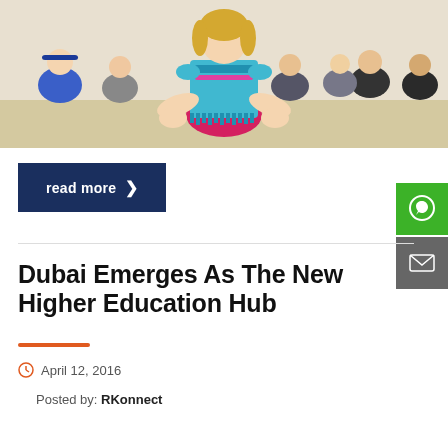[Figure (photo): Children sitting in a yoga/meditation pose in a classroom. A girl in a colorful blue and pink outfit is in the foreground in lotus pose, with other children sitting cross-legged in the background.]
read more >
Dubai Emerges As The New Higher Education Hub
April 12, 2016
Posted by: RKonnect